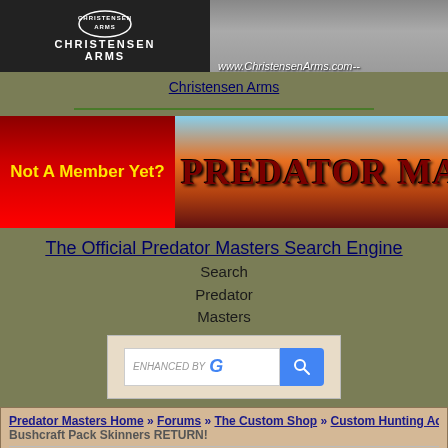[Figure (screenshot): Christensen Arms banner with logo on left (dark background) and website URL on right (grey background)]
Christensen Arms
[Figure (illustration): Predator Masters banner with 'Not A Member Yet?' button on red background and PREDATOR MAST... text on sunset landscape]
The Official Predator Masters Search Engine
Search
Predator
Masters
[Figure (screenshot): Google enhanced search bar with blue search button]
Predator Masters Home » Forums » The Custom Shop » Custom Hunting Ac...
Bushcraft Pack Skinners RETURN!
Register User   Forum List   Calendar   Active Topics ▼
Topic Options ▼